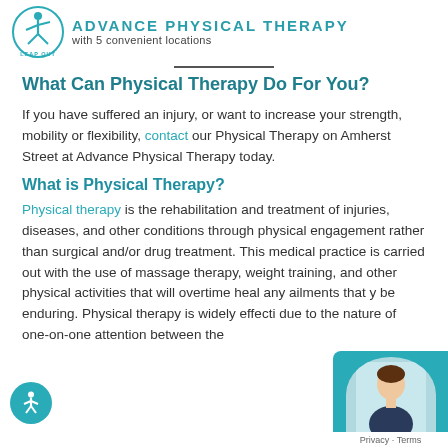ADVANCE PHYSICAL THERAPY with 5 convenient locations
What Can Physical Therapy Do For You?
If you have suffered an injury, or want to increase your strength, mobility or flexibility, contact our Physical Therapy on Amherst Street at Advance Physical Therapy today.
What is Physical Therapy?
Physical therapy is the rehabilitation and treatment of injuries, diseases, and other conditions through physical engagement rather than surgical and/or drug treatment. This medical practice is carried out with the use of massage therapy, weight training, and other physical activities that will overtime heal any ailments that may be enduring. Physical therapy is widely effective due to the nature of one-on-one attention between the